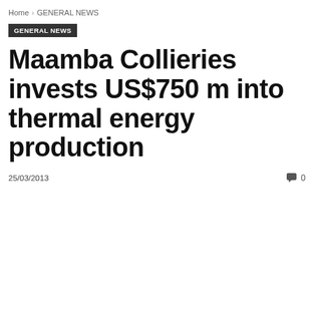Home › GENERAL NEWS
GENERAL NEWS
Maamba Collieries invests US$750 m into thermal energy production
25/03/2013
0